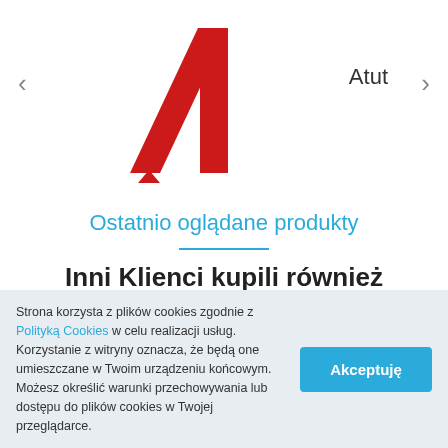[Figure (logo): Red stylized letter A logo (Atut brand)]
Atut
Ostatnio oglądane produkty
Inni Klienci kupili również
Strona korzysta z plików cookies zgodnie z Polityką Cookies w celu realizacji usług. Korzystanie z witryny oznacza, że będą one umieszczane w Twoim urządzeniu końcowym. Możesz określić warunki przechowywania lub dostępu do plików cookies w Twojej przeglądarce.
Akceptuję